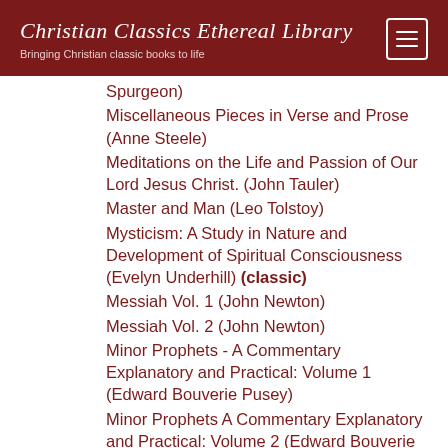Christian Classics Ethereal Library — Bringing Christian classic books to life
Spurgeon)
Miscellaneous Pieces in Verse and Prose (Anne Steele)
Meditations on the Life and Passion of Our Lord Jesus Christ. (John Tauler)
Master and Man (Leo Tolstoy)
Mysticism: A Study in Nature and Development of Spiritual Consciousness (Evelyn Underhill) (classic)
Messiah Vol. 1 (John Newton)
Messiah Vol. 2 (John Newton)
Minor Prophets - A Commentary Explanatory and Practical: Volume 1 (Edward Bouverie Pusey)
Minor Prophets A Commentary Explanatory and Practical: Volume 2 (Edward Bouverie Pusey)